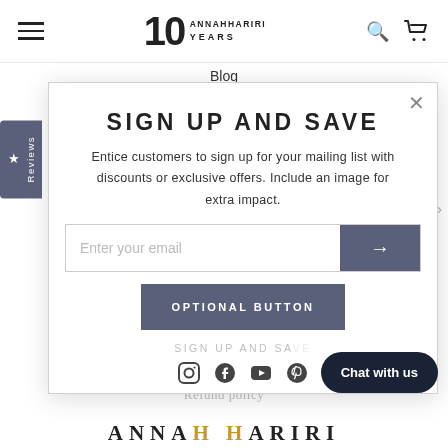10 ANNAHHARIRI YEARS — navigation bar with hamburger menu, logo, search and cart icons
Blog
Terms of Service
SIGN UP AND SAVE
Privacy Policy
Entice customers to sign up for your mailing list with discounts or exclusive offers. Include an image for extra impact.
FAQ
Enter your email
About Us
Covid-19-response
Refund policy
OPTIONAL BUTTON
SIGN UP AND SA...
[Figure (illustration): Social media icons: Instagram, Facebook, YouTube, Pinterest]
Chat with us
ANNA HH ARIRI